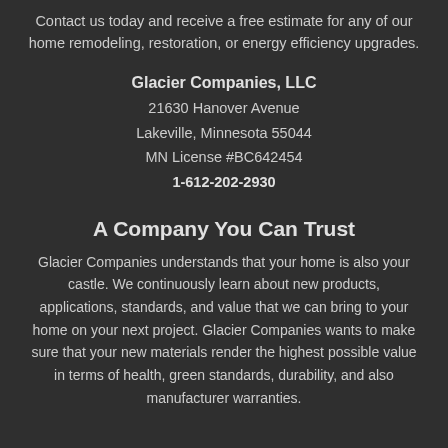Contact us today and receive a free estimate for any of our home remodeling, restoration, or energy efficiency upgrades.
Glacier Companies, LLC
21630 Hanover Avenue
Lakeville, Minnesota 55044
MN License #BC642454
1-612-202-2930
A Company You Can Trust
Glacier Companies understands that your home is also your castle. We continuously learn about new products, applications, standards, and value that we can bring to your home on your next project. Glacier Companies wants to make sure that your new materials render the highest possible value in terms of health, green standards, durability, and also manufacturer warranties.